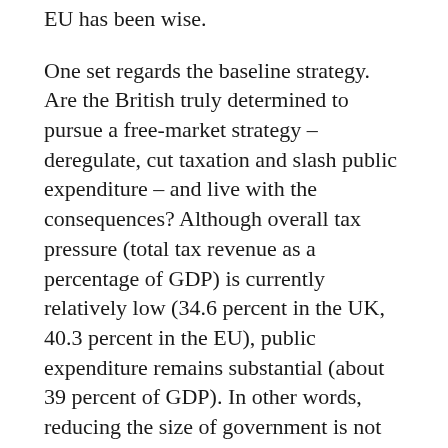EU has been wise.
One set regards the baseline strategy. Are the British truly determined to pursue a free-market strategy – deregulate, cut taxation and slash public expenditure – and live with the consequences? Although overall tax pressure (total tax revenue as a percentage of GDP) is currently relatively low (34.6 percent in the UK, 40.3 percent in the EU), public expenditure remains substantial (about 39 percent of GDP). In other words, reducing the size of government is not impossible. Yet, it would take a major and widely shared ideological commitment to drive taxation (and public expenditure) down to about 30 percent of GDP – this being the threshold that is likely needed to make the UK attractive for investors, entrepreneurs and qualified workers, accelerate social mobility and transform the country into an